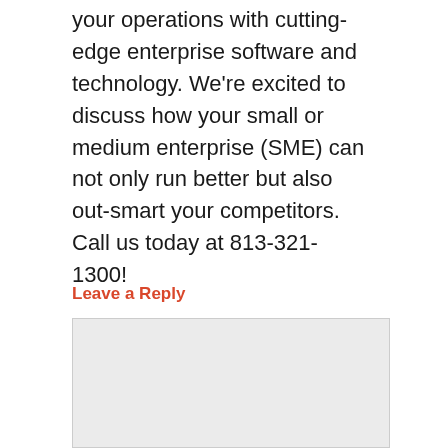your operations with cutting-edge enterprise software and technology. We're excited to discuss how your small or medium enterprise (SME) can not only run better but also out-smart your competitors. Call us today at 813-321-1300!
Leave a Reply